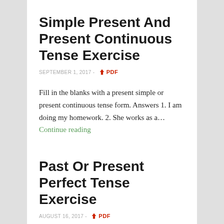Simple Present And Present Continuous Tense Exercise
SEPTEMBER 1, 2017 - PDF
Fill in the blanks with a present simple or present continuous tense form. Answers 1. I am doing my homework. 2. She works as a… Continue reading
Past Or Present Perfect Tense Exercise
AUGUST 16, 2017 - PDF